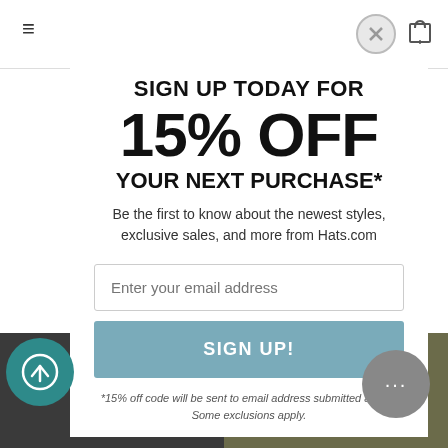[Figure (screenshot): Hamburger menu icon (three horizontal lines) in top-left corner of website header]
[Figure (screenshot): Close (X) button circle and cart icon in top-right corner]
SIGN UP TODAY FOR
15% OFF
YOUR NEXT PURCHASE*
Be the first to know about the newest styles, exclusive sales, and more from Hats.com
[Figure (screenshot): Email input field with placeholder text 'Enter your email address']
[Figure (screenshot): SIGN UP! button in teal/blue color]
*15% off code will be sent to email address submitted above. Some exclusions apply.
[Figure (photo): Bottom product images showing two hats - black hat on left and olive/green hat on right]
[Figure (screenshot): Teal circular scroll-to-top button with up arrow in bottom-left]
[Figure (screenshot): Gray circular chat button with ellipsis (...) in bottom-right]